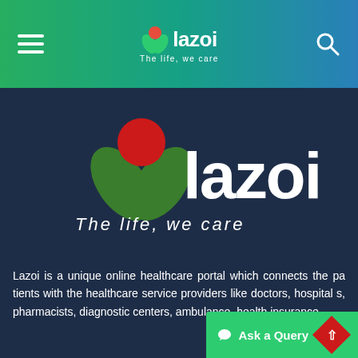lazoi — The life, we care (navigation bar)
[Figure (logo): Lazoi logo with flower icon (red circle on green leaves) and text 'lazoi — The life, we care' on dark blue background]
Lazoi is a unique online healthcare portal which connects the patients with the healthcare service providers like doctors, hospitals, pharmacists, diagnostic centers, ambulance, health insurance.
[Figure (infographic): Social media icons: Facebook, Twitter, Google+, LinkedIn, Instagram — white rounded square icons]
Company
About Us
Press Releases